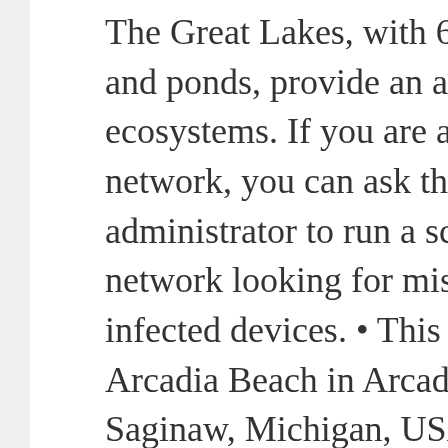The Great Lakes, with 64,980 interior lakes and ponds, provide an abundance of ecosystems. If you are at an office or shared network, you can ask the network administrator to run a scan across the network looking for misconfigured or infected devices. • This is a shot of the Arcadia Beach in Arcadia, Michigan. Saginaw, Michigan, USA - Cityscape of the streets of downtown Saginaw Michigan on an autumn day, Flint, Michigan: Flint Vehicle City Sign. 6,286 state michigan stock photos are available royalty-free. USA, Streets Of Downtown Saginaw, Michigan, The...